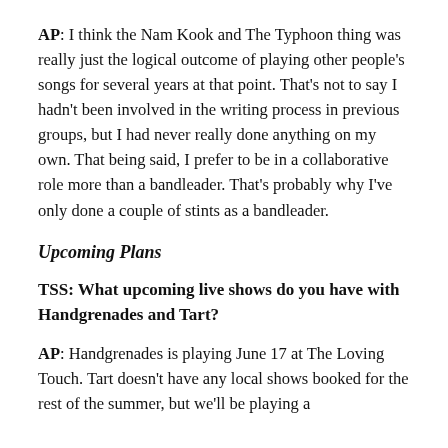AP: I think the Nam Kook and The Typhoon thing was really just the logical outcome of playing other people's songs for several years at that point. That's not to say I hadn't been involved in the writing process in previous groups, but I had never really done anything on my own. That being said, I prefer to be in a collaborative role more than a bandleader. That's probably why I've only done a couple of stints as a bandleader.
Upcoming Plans
TSS: What upcoming live shows do you have with Handgrenades and Tart?
AP: Handgrenades is playing June 17 at The Loving Touch. Tart doesn't have any local shows booked for the rest of the summer, but we'll be playing a